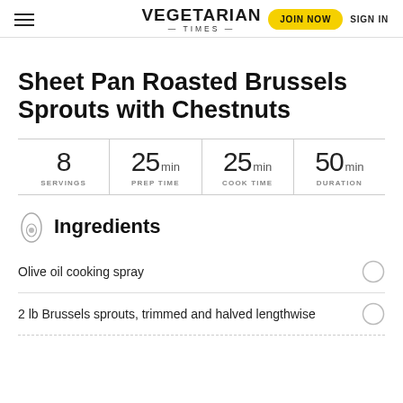VEGETARIAN TIMES | JOIN NOW | SIGN IN
Sheet Pan Roasted Brussels Sprouts with Chestnuts
| SERVINGS | PREP TIME | COOK TIME | DURATION |
| --- | --- | --- | --- |
| 8 | 25 min | 25 min | 50 min |
Ingredients
Olive oil cooking spray
2 lb Brussels sprouts, trimmed and halved lengthwise